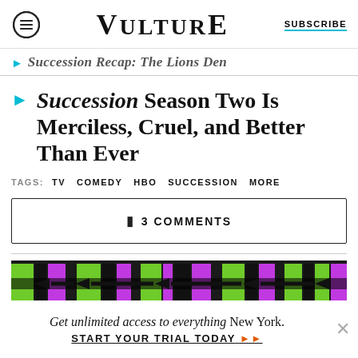VULTURE  SUBSCRIBE
Succession Recap: The Lions Den
Succession Season Two Is Merciless, Cruel, and Better Than Ever
TAGS: TV COMEDY HBO SUCCESSION MORE
3 COMMENTS
[Figure (other): Colorful advertisement banner with green, purple, and black blocks]
Get unlimited access to everything New York. START YOUR TRIAL TODAY